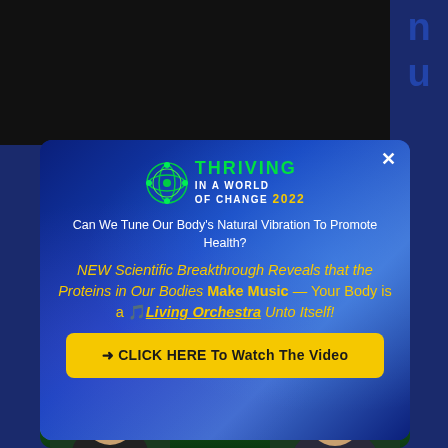[Figure (screenshot): Screenshot of a web page showing a popup advertisement for 'Thriving In A World Of Change 2022' summit. Background shows a dark blue/navy page with partially visible content. The popup features a DNA helix background image in blue/purple tones. Content includes a logo, headline text, yellow promotional text about proteins making music in the body, and a yellow call-to-action button. At the bottom are two portrait photos of speakers. Right side shows partial letters from underlying page.]
THRIVING IN A WORLD OF CHANGE 2022
Can We Tune Our Body's Natural Vibration To Promote Health?
NEW Scientific Breakthrough Reveals that the Proteins in Our Bodies Make Music — Your Body is a 🎵Living Orchestra Unto Itself!
➜ CLICK HERE To Watch The Video